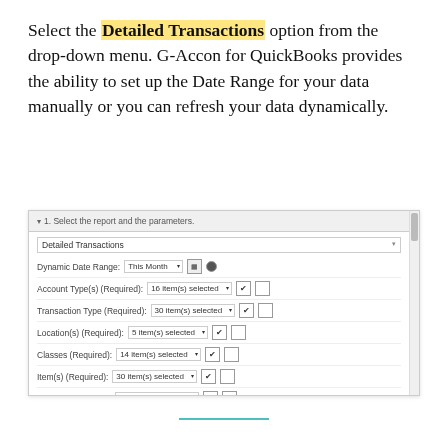Select the Detailed Transactions option from the drop-down menu. G-Accon for QuickBooks provides the ability to set up the Date Range for your data manually or you can refresh your data dynamically.
[Figure (screenshot): A G-Accon for QuickBooks UI panel showing report parameter settings including: Detailed Transactions dropdown, Dynamic Date Range set to 'This Month', Account Type(s) with 16 items selected, Transaction Type with 30 items selected, Location(s) with 5 items selected, Classes with 14 items selected, Item(s) with 30 items selected, Term(s) with 12 items selected, Check Status set to All, AP Paid set to All, and a footer row for 'Change Pull Settings (optional)'.]